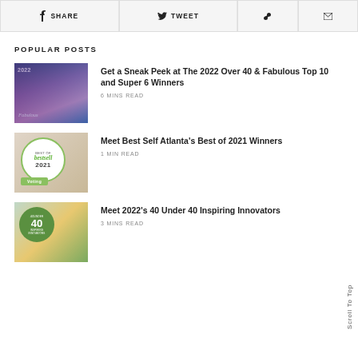SHARE
TWEET
POPULAR POSTS
[Figure (photo): Group photo with 2022 Over 40 & Fabulous text overlay]
Get a Sneak Peek at The 2022 Over 40 & Fabulous Top 10 and Super 6 Winners
6 MINS READ
[Figure (photo): Best Self Atlanta Best of 2021 voting badge with food items]
Meet Best Self Atlanta's Best of 2021 Winners
1 MIN READ
[Figure (photo): 40 Under 40 Inspiring Innovators collage with green badge]
Meet 2022's 40 Under 40 Inspiring Innovators
3 MINS READ
Scroll To Top